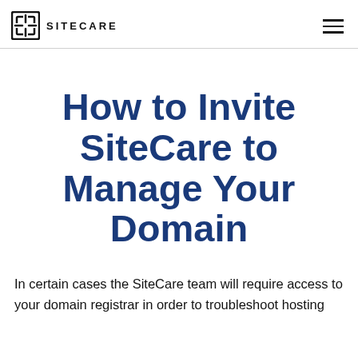SITECARE
How to Invite SiteCare to Manage Your Domain
In certain cases the SiteCare team will require access to your domain registrar in order to troubleshoot hosting